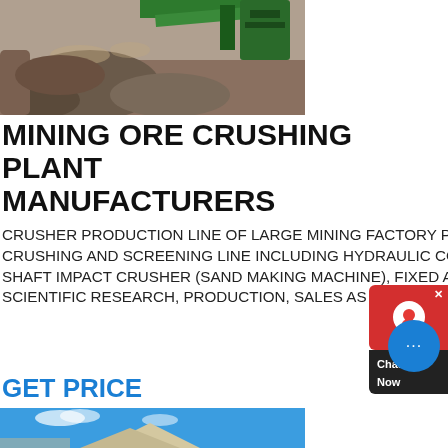[Figure (photo): Mining ore crushing plant machinery with green conveyor belt and rock pile, outdoor industrial setting]
MINING ORE CRUSHING PLANT MANUFACTURERS
CRUSHER PRODUCTION LINE OF LARGE MINING FACTORY PRICE. DEWO MACHINERY CAN PROVIDES COMPLETE SET OF CRUSHING AND SCREENING LINE INCLUDING HYDRAULIC CONE CRUSHER, JAW CRUSHER, IMPACT CRUSHER, VERTICAL SHAFT IMPACT CRUSHER (SAND MAKING MACHINE), FIXED AND MOVABLE ROCK CRUSHING LINE OUR STRENGTH IS A SET OF SCIENTIFIC RESEARCH, PRODUCTION, SALES AS ONE OF THE COMPREHENSIVE
GET PRICE
[Figure (photo): Blue sky with white clouds and a stone or concrete structure visible at bottom of frame]